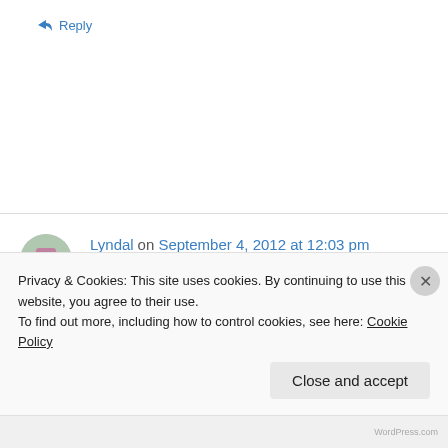↳ Reply
Lyndal on September 4, 2012 at 12:03 pm
maaaw i love how polite she is about it!! lovely post
#teamIBOT
Privacy & Cookies: This site uses cookies. By continuing to use this website, you agree to their use.
To find out more, including how to control cookies, see here: Cookie Policy
Close and accept